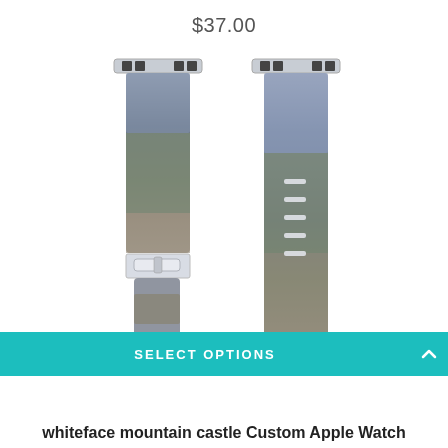$37.00
[Figure (photo): Two Apple Watch bands with whiteface mountain castle print. Left band shows full band with buckle clasp, right band shows longer portion with adjustment holes. Both bands feature a scenic mountain/castle photograph printed on the strap.]
SELECT OPTIONS
whiteface mountain castle Custom Apple Watch